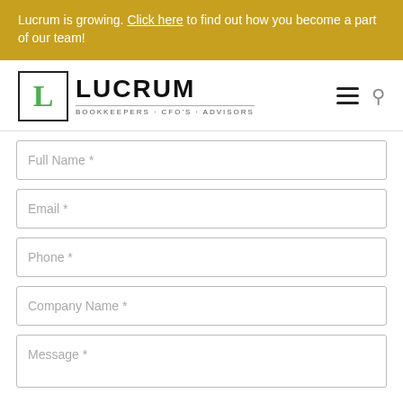Lucrum is growing. Click here to find out how you become a part of our team!
[Figure (logo): Lucrum logo with stylized L in a box and text BOOKKEEPERS · CFO'S · ADVISORS]
Full Name *
Email *
Phone *
Company Name *
Message *